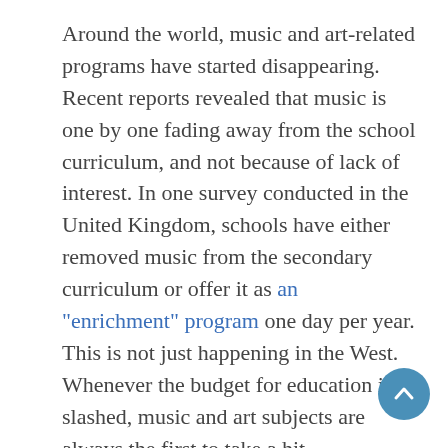Around the world, music and art-related programs have started disappearing. Recent reports revealed that music is one by one fading away from the school curriculum, and not because of lack of interest. In one survey conducted in the United Kingdom, schools have either removed music from the secondary curriculum or offer it as an "enrichment" program one day per year. This is not just happening in the West. Whenever the budget for education is slashed, music and art subjects are always the first to take a hit.
It is a shame that schools are not giving music and